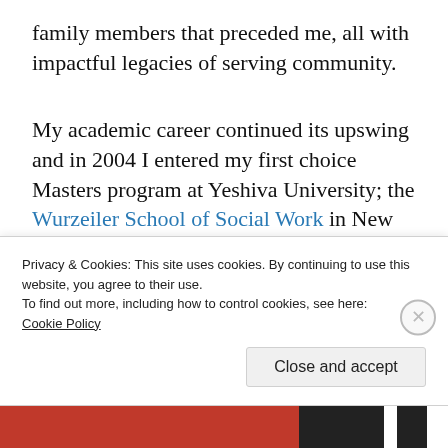family members that preceded me, all with impactful legacies of serving community.
My academic career continued its upswing and in 2004 I entered my first choice Masters program at Yeshiva University; the Wurzeiler School of Social Work in New York City.
Living in New York City was a dream...
Privacy & Cookies: This site uses cookies. By continuing to use this website, you agree to their use.
To find out more, including how to control cookies, see here:
Cookie Policy
Close and accept